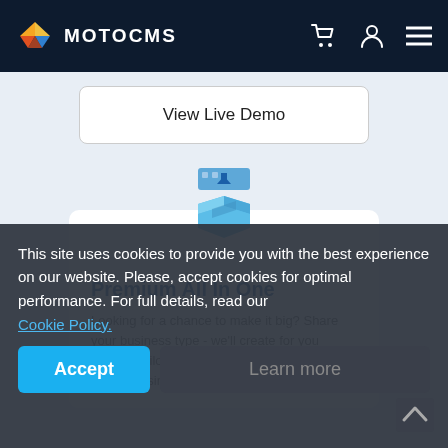MOTOCMS
View Live Demo
[Figure (illustration): Blue download box icon with a downward arrow and browser window chrome at top]
Premium All In One
Looking for a chance to make it big? Share your business type - we'll create for you website tailored to your niche and audience in just 20 business
This site uses cookies to provide you with the best experience on our website. Please, accept cookies for optimal performance. For full details, read our Cookie Policy.
Accept
Learn more